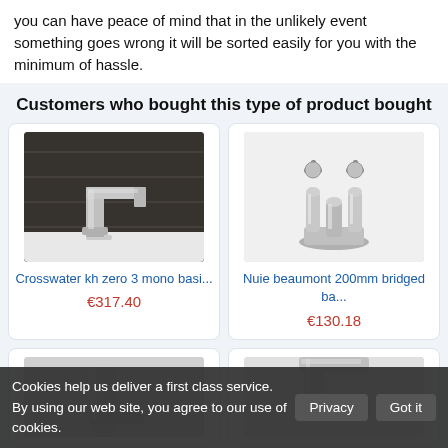you can have peace of mind that in the unlikely event something goes wrong it will be sorted easily for you with the minimum of hassle.
Customers who bought this type of product bought
[Figure (photo): Photo of a modern chrome mono basin tap (Crosswater kh zero 3 mono basin tap)]
Crosswater kh zero 3 mono basi...
€317.40
[Figure (photo): Photo of a traditional chrome bridged bath tap (Nuie beaumont 200mm bridged bath tap)]
Nuie beaumont 200mm bridged ba...
€130.18
[Figure (photo): Partial photo of a chrome tap product (bottom left product card, partially visible)]
[Figure (photo): Partial photo of a chrome waterfall tap product (bottom right product card, partially visible)]
Cookies help us deliver a first class service. By using our web site, you agree to our use of cookies.
Privacy
Got it